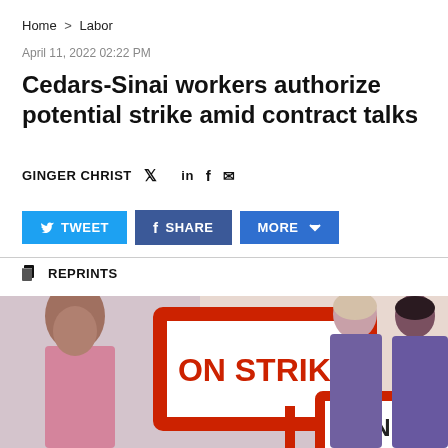Home > Labor
April 11, 2022 02:22 PM
Cedars-Sinai workers authorize potential strike amid contract talks
GINGER CHRIST
[Figure (infographic): Social share buttons: TWEET, SHARE, MORE with dropdown arrow]
REPRINTS
[Figure (photo): Photo of healthcare workers holding ON STRIKE signs with red borders; a nurse in foreground looking down, two workers in background in purple scrubs]